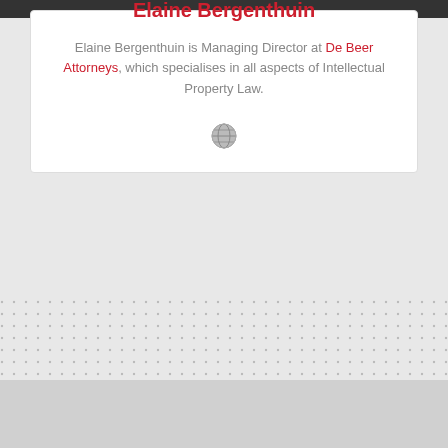[Figure (photo): Circular portrait photo of Elaine Bergenthuin, a woman with blonde hair, against a dark background]
Elaine Bergenthuin
Elaine Bergenthuin is Managing Director at De Beer Attorneys, which specialises in all aspects of Intellectual Property Law.
[Figure (illustration): Small globe/web icon in gray]
[Figure (illustration): Dotted pattern decorative background strip]